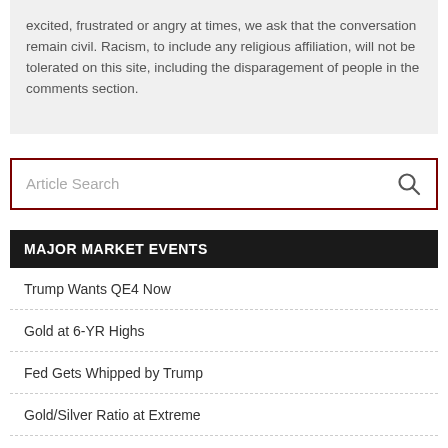excited, frustrated or angry at times, we ask that the conversation remain civil. Racism, to include any religious affiliation, will not be tolerated on this site, including the disparagement of people in the comments section.
[Figure (other): Article Search input box with dark red border and search icon]
MAJOR MARKET EVENTS
Trump Wants QE4 Now
Gold at 6-YR Highs
Fed Gets Whipped by Trump
Gold/Silver Ratio at Extreme